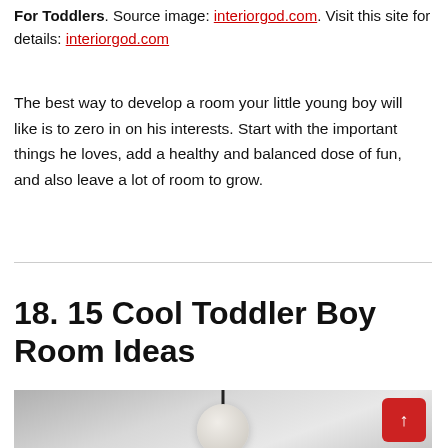For Toddlers. Source image: interiorgod.com. Visit this site for details: interiorgod.com
The best way to develop a room your little young boy will like is to zero in on his interests. Start with the important things he loves, add a healthy and balanced dose of fun, and also leave a lot of room to grow.
18. 15 Cool Toddler Boy Room Ideas
[Figure (photo): Partial photo of a hanging lamp with a globe-shaped shade against a grey background, with a red back-to-top button overlay in the bottom right corner.]